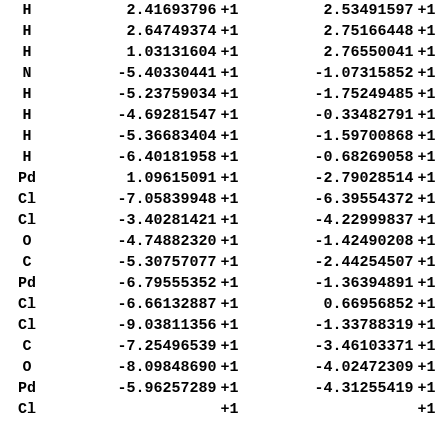| H | 2.41693796 | +1 | 2.53491597 | +1 |
| H | 2.64749374 | +1 | 2.75166448 | +1 |
| H | 1.03131604 | +1 | 2.76550041 | +1 |
| N | -5.40330441 | +1 | -1.07315852 | +1 |
| H | -5.23759034 | +1 | -1.75249485 | +1 |
| H | -4.69281547 | +1 | -0.33482791 | +1 |
| H | -5.36683404 | +1 | -1.59700868 | +1 |
| H | -6.40181958 | +1 | -0.68269058 | +1 |
| Pd | 1.09615091 | +1 | -2.79028514 | +1 |
| Cl | -7.05839948 | +1 | -6.39554372 | +1 |
| Cl | -3.40281421 | +1 | -4.22999837 | +1 |
| O | -4.74882320 | +1 | -1.42490208 | +1 |
| C | -5.30757077 | +1 | -2.44254507 | +1 |
| Pd | -6.79555352 | +1 | -1.36394891 | +1 |
| Cl | -6.66132887 | +1 | 0.66956852 | +1 |
| Cl | -9.03811356 | +1 | -1.33788319 | +1 |
| C | -7.25496539 | +1 | -3.46103371 | +1 |
| O | -8.09848690 | +1 | -4.02472309 | +1 |
| Pd | -5.96257289 | +1 | -4.31255419 | +1 |
| Cl | ... | +1 | ... | +1 |